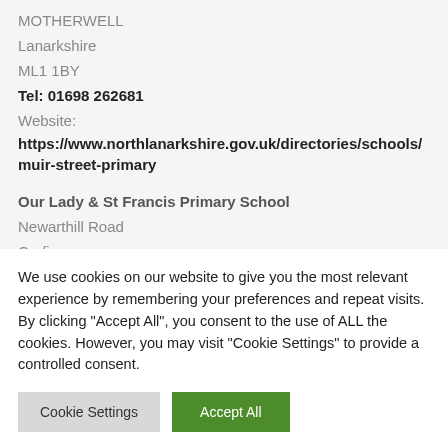MOTHERWELL
Lanarkshire
ML1 1BY
Tel: 01698 262681
Website:
https://www.northlanarkshire.gov.uk/directories/schools/muir-street-primary
Our Lady & St Francis Primary School
Newarthill Road
Carfin
We use cookies on our website to give you the most relevant experience by remembering your preferences and repeat visits. By clicking "Accept All", you consent to the use of ALL the cookies. However, you may visit "Cookie Settings" to provide a controlled consent.